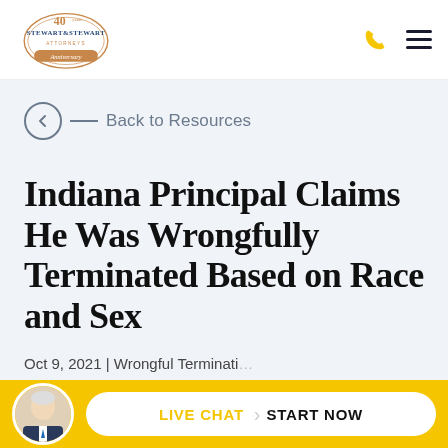[Figure (logo): Stewart & Stewart Attorneys 40th Anniversary logo with circular gold/orange emblem]
Back to Resources
Indiana Principal Claims He Was Wrongfully Terminated Based on Race and Sex
Oct 9, 2021 | Wrongful Termination
[Figure (photo): Live Chat - Start Now button bar with attorney avatar photo at bottom of page]